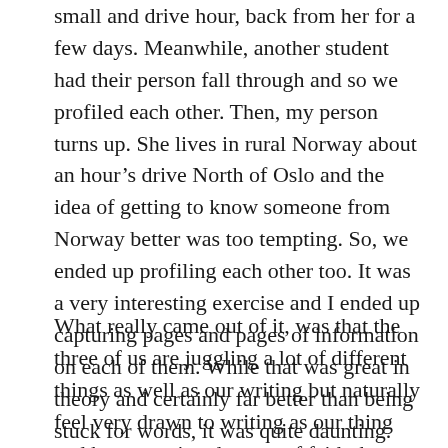small and drive hour, back from her for a few days. Meanwhile, another student had their person fall through and so we profiled each other. Then, my person turns up. She lives in rural Norway about an hour's drive North of Oslo and the idea of getting to know someone from Norway better was too tempting. So, we ended up profiling each other too. It was a very interesting exercise and I ended up capturing pages and pages of information on each of them. While that was great in theory and certainly far better than being stuck for words, it was quite daunting. After all, we didn't know each other. All we know is that we write. My thinking was to go broad so if there was a good story there, I'd collect it. However, the obvious thing to look at was why they'd enrolled in the course and why they write.
What really came out of it, was that the three of us are juggling a lot of different things as well as our writing but naturally feel very drawn to writing as our thing and have varying degrees of faith that we can do it. Being so busy, it's easy to feel that you're not writing as much as you writer...